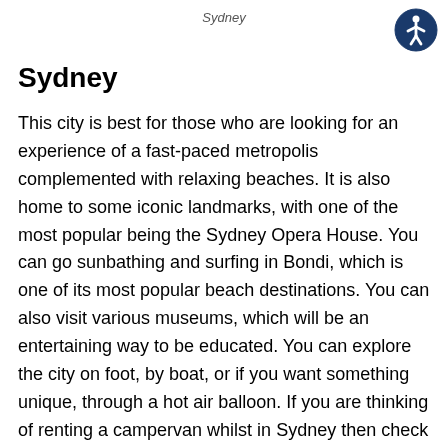Sydney
[Figure (illustration): Accessibility icon: dark blue circle with a white human figure in the universal accessibility symbol style]
Sydney
This city is best for those who are looking for an experience of a fast-paced metropolis complemented with relaxing beaches. It is also home to some iconic landmarks, with one of the most popular being the Sydney Opera House. You can go sunbathing and surfing in Bondi, which is one of its most popular beach destinations. You can also visit various museums, which will be an entertaining way to be educated. You can explore the city on foot, by boat, or if you want something unique, through a hot air balloon. If you are thinking of renting a campervan whilst in Sydney then check out Spaceship Rentals.